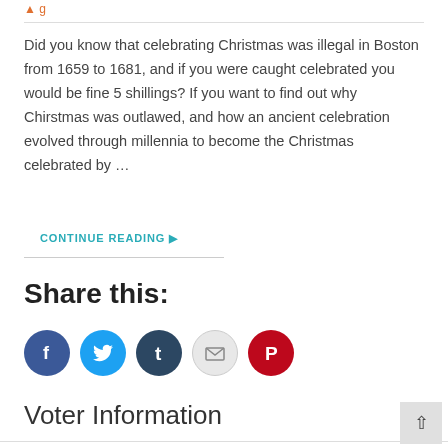Did you know that celebrating Christmas was illegal in Boston from 1659 to 1681, and if you were caught celebrated you would be fine 5 shillings? If you want to find out why Chirstmas was outlawed, and how an ancient celebration evolved through millennia to become the Christmas celebrated by …
CONTINUE READING ▶
Share this:
[Figure (infographic): Five social sharing icon buttons: Facebook (blue circle with f), Twitter (blue circle with bird), Tumblr (dark blue circle with t), Email (light grey circle with envelope), Pinterest (red circle with P)]
Voter Information